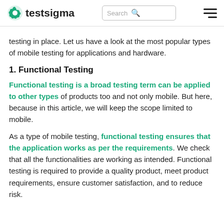testsigma | Search | hamburger menu
testing in place. Let us have a look at the most popular types of mobile testing for applications and hardware.
1. Functional Testing
Functional testing is a broad testing term can be applied to other types of products too and not only mobile. But here, because in this article, we will keep the scope limited to mobile.
As a type of mobile testing, functional testing ensures that the application works as per the requirements. We check that all the functionalities are working as intended. Functional testing is required to provide a quality product, meet product requirements, ensure customer satisfaction, and to reduce risk.